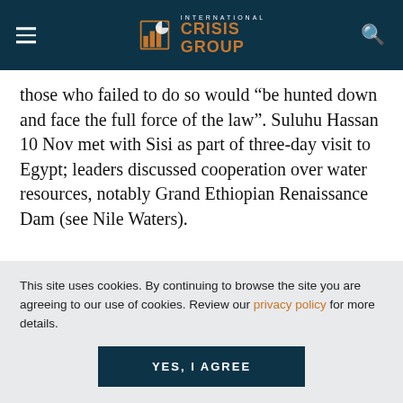International Crisis Group
those who failed to do so would “be hunted down and face the full force of the law”. Suluhu Hassan 10 Nov met with Sisi as part of three-day visit to Egypt; leaders discussed cooperation over water resources, notably Grand Ethiopian Renaissance Dam (see Nile Waters).
This site uses cookies. By continuing to browse the site you are agreeing to our use of cookies. Review our privacy policy for more details.
YES, I AGREE